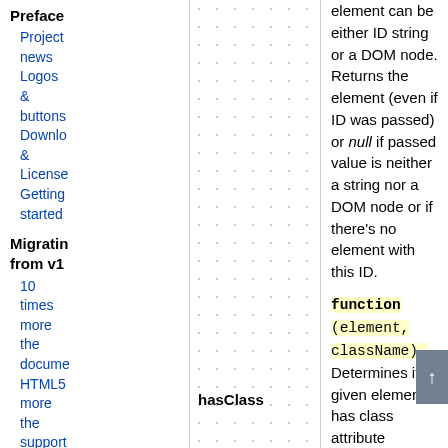Preface
Project news
Logos & buttons
Downlo & License
Getting started
Migrating from v1
10 times more the docume
HTML5
more the support
| Function | Description |
| --- | --- |
| hasClass | function (element, className). Determines if given element has class attribute containing the className word. Accepts DOM element or ID string. Returns true or false. |
| classRegExp | Returns a regular expression suitable for testing of HTML class-like strings to find out if it contains a given... |
element can be either ID string or a DOM node. Returns the element (even if ID was passed) or null if passed value is neither a string nor a DOM node or if there's no element with this ID.